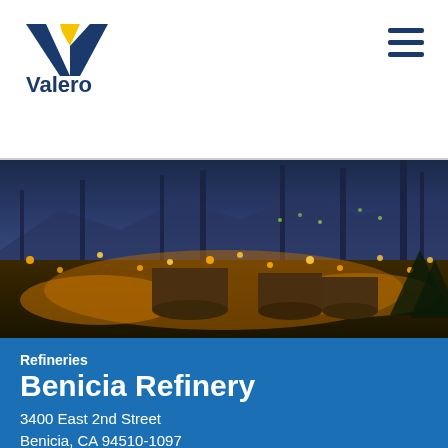[Figure (logo): Valero Energy logo — stylized V checkmark in yellow and blue above the word Valero in dark blue]
[Figure (other): Hamburger menu icon — three horizontal dark blue bars]
[Figure (photo): Aerial night photograph of the Benicia Refinery lit up with amber/orange lights against a twilight sky and mountain backdrop]
Refineries
Benicia Refinery
3400 East 2nd Street
Benicia, CA 94510-1097
United States